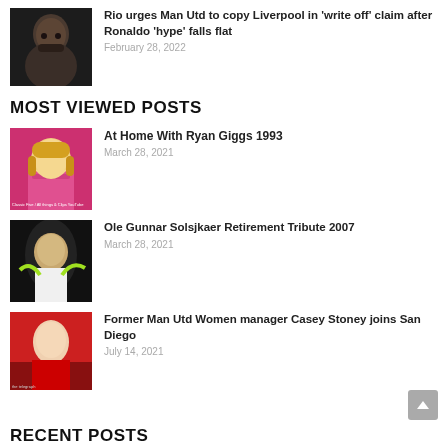[Figure (photo): Thumbnail photo of a man (Rio Ferdinand) in dark clothing against dark background]
Rio urges Man Utd to copy Liverpool in 'write off' claim after Ronaldo 'hype' falls flat
February 28, 2022
MOST VIEWED POSTS
[Figure (photo): Thumbnail of a blonde woman in pink top, video thumbnail from Classic Five/All things & Clips YouTube]
At Home With Ryan Giggs 1993
March 28, 2021
[Figure (photo): Thumbnail of Ole Gunnar Solskjaer in white shirt against dark background with green light]
Ole Gunnar Solsjkaer Retirement Tribute 2007
March 28, 2021
[Figure (photo): Thumbnail of Casey Stoney in red stadium setting with watermark text]
Former Man Utd Women manager Casey Stoney joins San Diego
July 14, 2021
RECENT POSTS